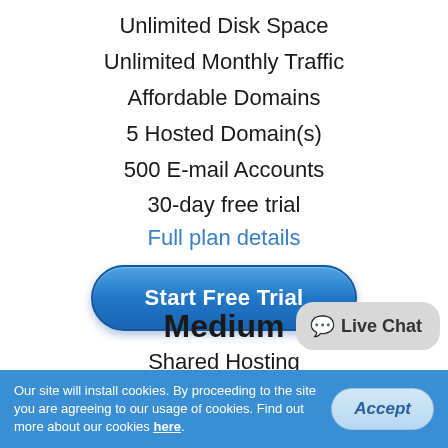Unlimited Disk Space
Unlimited Monthly Traffic
Affordable Domains
5 Hosted Domain(s)
500 E-mail Accounts
30-day free trial
Full plan details
Start Free Trial
Medium
Shared Hosting
Live Chat
Our site will install cookies. By proceeding to the site you are agreeing to our usage of cookies. Find out more about our cookies here.